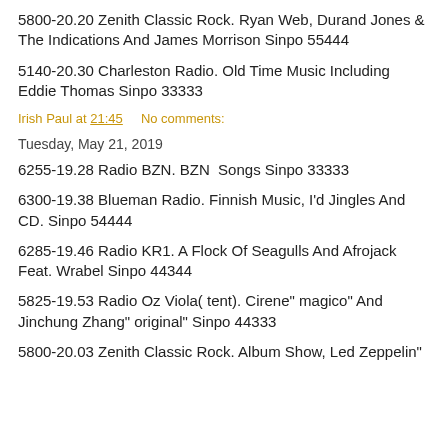5800-20.20 Zenith Classic Rock. Ryan Web, Durand Jones & The Indications And James Morrison Sinpo 55444
5140-20.30 Charleston Radio. Old Time Music Including Eddie Thomas Sinpo 33333
Irish Paul at 21:45     No comments:
Tuesday, May 21, 2019
6255-19.28 Radio BZN. BZN  Songs Sinpo 33333
6300-19.38 Blueman Radio. Finnish Music, I'd Jingles And CD. Sinpo 54444
6285-19.46 Radio KR1. A Flock Of Seagulls And Afrojack Feat. Wrabel Sinpo 44344
5825-19.53 Radio Oz Viola( tent). Cirene" magico" And Jinchung Zhang" original" Sinpo 44333
5800-20.03 Zenith Classic Rock. Album Show, Led Zeppelin"